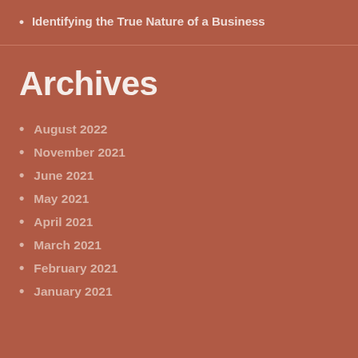Identifying the True Nature of a Business
Archives
August 2022
November 2021
June 2021
May 2021
April 2021
March 2021
February 2021
January 2021